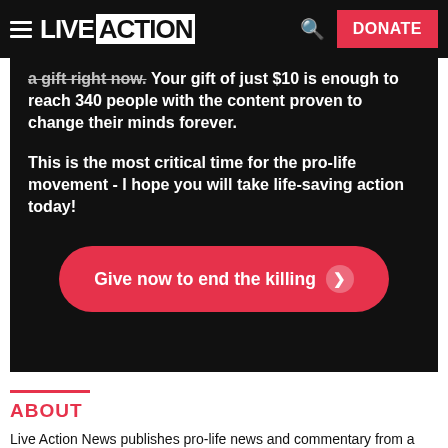LIVE ACTION | DONATE
a gift right now. Your gift of just $10 is enough to reach 340 people with the content proven to change their minds forever.

This is the most critical time for the pro-life movement - I hope you will take life-saving action today!
Give now to end the killing
ABOUT
Live Action News publishes pro-life news and commentary from a pro-life perspective. Learn More